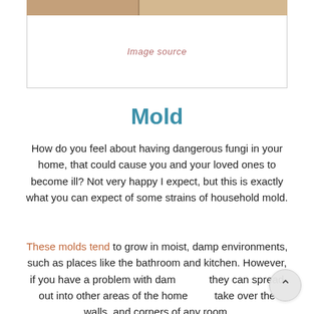[Figure (photo): Partial view of a wooden or earthy-toned interior surface at the top of the page]
Image source
Mold
How do you feel about having dangerous fungi in your home, that could cause you and your loved ones to become ill? Not very happy I expect, but this is exactly what you can expect of some strains of household mold.
These molds tend to grow in moist, damp environments, such as places like the bathroom and kitchen. However, if you have a problem with damp they can spread out into other areas of the home and take over the walls, and corners of any room.